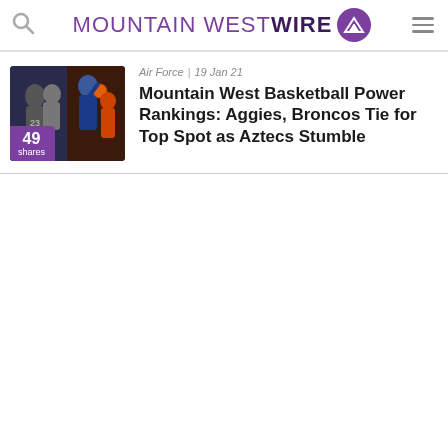MOUNTAIN WEST WIRE
[Figure (photo): Basketball game action photo showing players, including one wearing jersey #23, used as article thumbnail with a purple shares badge showing 49 shares]
Air Force | 19 Jan 21
Mountain West Basketball Power Rankings: Aggies, Broncos Tie for Top Spot as Aztecs Stumble